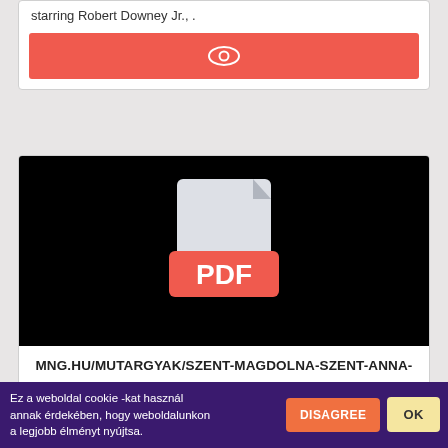starring Robert Downey Jr., .
[Figure (screenshot): Red button with an eye icon]
[Figure (screenshot): Black area containing a PDF file icon with a red PDF label badge]
MNG.HU/MUTARGYAK/SZENT-MAGDOLNA-SZENT-ANNA-HARMADMAGAVAL-ES-ARPAD-HAZI-SZENT-ERZSEBET-A-RADACSROL-VAGY-BERZENKEROL-SZARMAZO-SZENT-ANNA-OLTAR-KOZEPKEPE/?PDF
Ez a weboldal cookie -kat használ annak érdekében, hogy weboldalunkon a legjobb élményt nyújtsa.
DISAGREE
OK